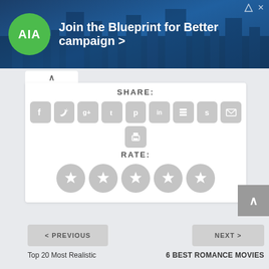[Figure (screenshot): AIA advertisement banner: green circular logo with 'AIA' text, cityscape background, text 'Join the Blueprint for Better campaign >']
SHARE:
[Figure (infographic): Social sharing icons row: Facebook, Twitter, Google+, Tumblr, Pinterest, LinkedIn, Buffer, StumbleUpon, Email, Print]
RATE:
[Figure (infographic): Five gray star rating circles]
< PREVIOUS
NEXT >
Top 20 Most Realistic
6 BEST ROMANCE MOVIES